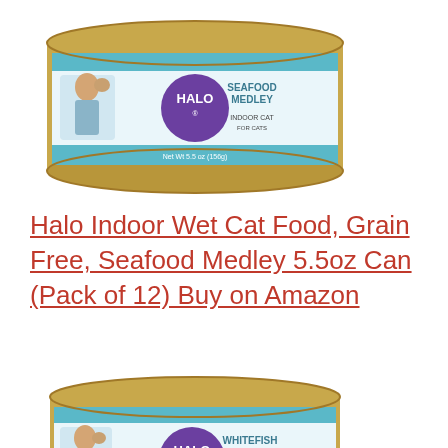[Figure (photo): Halo brand wet cat food can - Seafood Medley flavor, Indoor Cat, 5.5oz, gold/teal cylindrical can with purple Halo logo circle and woman holding cat image]
Halo Indoor Wet Cat Food, Grain Free, Seafood Medley 5.5oz Can (Pack of 12) Buy on Amazon
[Figure (photo): Halo brand wet cat food can - Whitefish Recipe flavor, Indoor Cat, gold/teal cylindrical can with purple Halo logo circle and woman holding cat image]